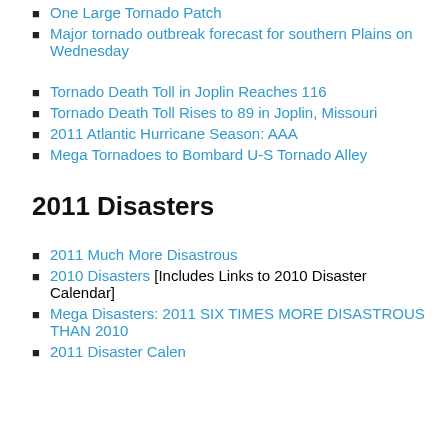One Large Tornado Patch
Major tornado outbreak forecast for southern Plains on Wednesday
Tornado Death Toll in Joplin Reaches 116
Tornado Death Toll Rises to 89 in Joplin, Missouri
2011 Atlantic Hurricane Season: AAA
Mega Tornadoes to Bombard U-S Tornado Alley
2011 Disasters
2011 Much More Disastrous
2010 Disasters [Includes Links to 2010 Disaster Calendar]
Mega Disasters: 2011 SIX TIMES MORE DISASTROUS THAN 2010
2011 Disaster Calendar